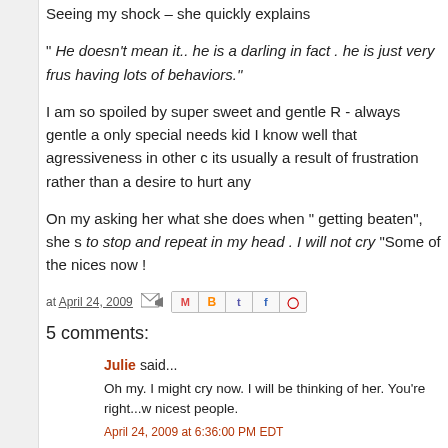Seeing my shock – she quickly explains
" He doesn't mean it.. he is a darling in fact . he is just very frus having lots of behaviors."
I am so spoiled by super sweet and gentle R - always gentle a only special needs kid I know well that agressiveness in other c its usually a result of frustration rather than a desire to hurt any
On my asking her what she does when " getting beaten", she s to stop and repeat in my head . I will not cry "Some of the nices now !
at April 24, 2009
5 comments:
Julie said...
Oh my. I might cry now. I will be thinking of her. You're right...w nicest people.
April 24, 2009 at 6:36:00 PM EDT